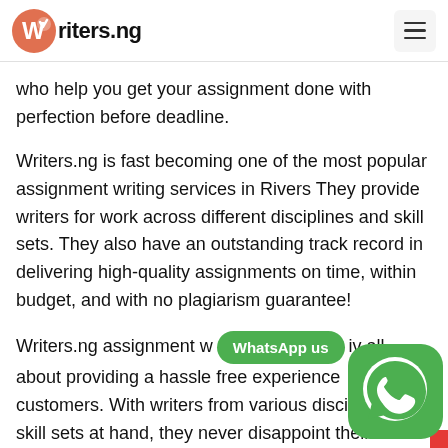Writers.ng
who help you get your assignment done with perfection before deadline.
Writers.ng is fast becoming one of the most popular assignment writing services in Rivers They provide writers for work across different disciplines and skill sets. They also have an outstanding track record in delivering high-quality assignments on time, within budget, and with no plagiarism guarantee!
Writers.ng assignment w [WhatsApp us] iv all about providing a hassle free experience customers. With writers from various disciplines and skill sets at hand, they never disappoint their